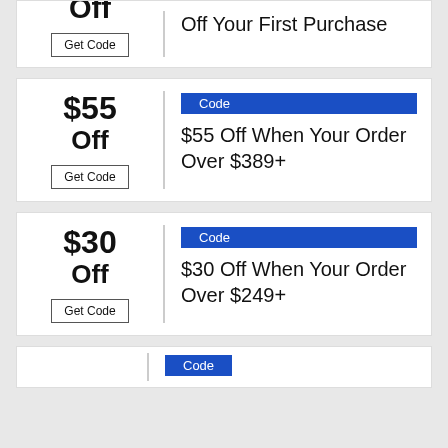[Figure (other): Partial coupon card at top: 'Off' text and 'Get Code' button on left; 'Off Your First Purchase' text on right]
[Figure (other): Coupon card: $55 Off, Get Code button on left; 'Code' badge and '$55 Off When Your Order Over $389+' on right]
[Figure (other): Coupon card: $30 Off, Get Code button on left; 'Code' badge and '$30 Off When Your Order Over $249+' on right]
[Figure (other): Partial coupon card at bottom with 'Code' badge partially visible]